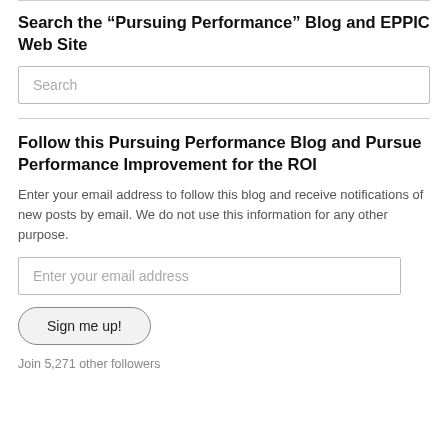Search the “Pursuing Performance” Blog and EPPIC Web Site
Search
Follow this Pursuing Performance Blog and Pursue Performance Improvement for the ROI
Enter your email address to follow this blog and receive notifications of new posts by email. We do not use this information for any other purpose.
Enter your email address
Sign me up!
Join 5,271 other followers